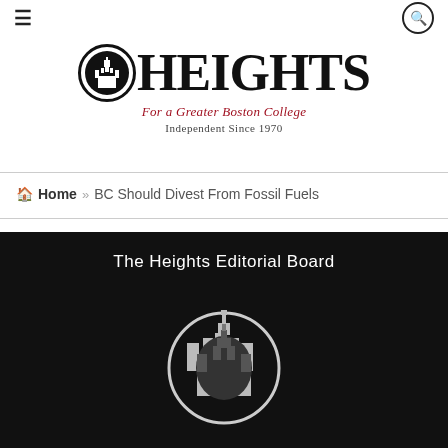≡ (menu icon) | 🔍 (search icon)
[Figure (logo): The Heights newspaper logo: circular emblem with castle silhouette, large bold 'HEIGHTS' text, italic red tagline 'For a Greater Boston College', and subtitle 'Independent Since 1970']
🏠 Home » BC Should Divest From Fossil Fuels
[Figure (photo): Dark/black background image with white text 'The Heights Editorial Board' and a white circular logo with castle/church spire silhouette]